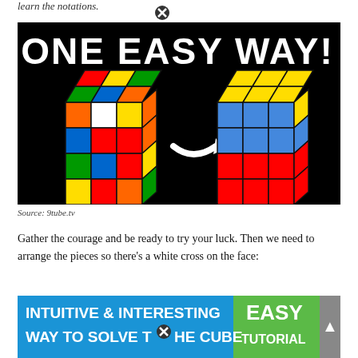learn the notations.
[Figure (photo): Rubik's cube tutorial image showing a scrambled cube on the left with an arrow pointing to a solved cube on the right, with text 'ONE EASY WAY!' on a black background]
Source: 9tube.tv
Gather the courage and be ready to try your luck. Then we need to arrange the pieces so there's a white cross on the face:
[Figure (screenshot): Advertisement banner for 'INTUITIVE & INTERESTING WAY TO SOLVE THE CUBE - EASY TUTORIAL' with colorful background]